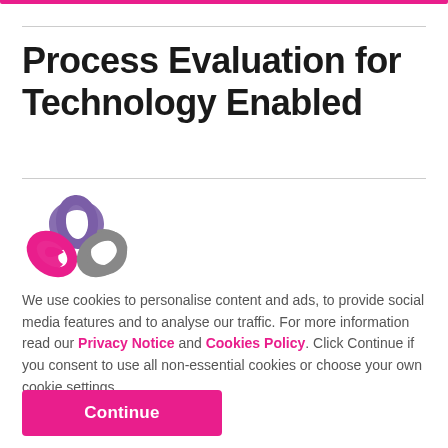Process Evaluation for Technology Enabled
[Figure (logo): A stylized chain-link / loop logo with three interlocking curved links in purple, pink/magenta, and grey colors.]
We use cookies to personalise content and ads, to provide social media features and to analyse our traffic. For more information read our Privacy Notice and Cookies Policy. Click Continue if you consent to use all non-essential cookies or choose your own cookie settings.
Continue